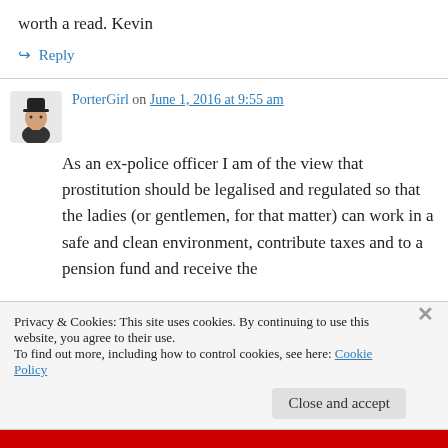worth a read. Kevin
↪ Reply
PorterGirl on June 1, 2016 at 9:55 am
As an ex-police officer I am of the view that prostitution should be legalised and regulated so that the ladies (or gentlemen, for that matter) can work in a safe and clean environment, contribute taxes and to a pension fund and receive the
Privacy & Cookies: This site uses cookies. By continuing to use this website, you agree to their use.
To find out more, including how to control cookies, see here: Cookie Policy
Close and accept